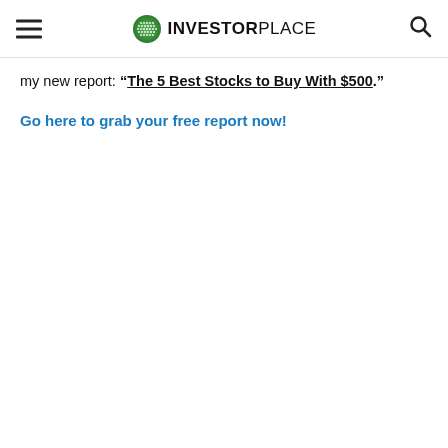INVESTORPLACE
my new report: “The 5 Best Stocks to Buy With $500.”
Go here to grab your free report now!